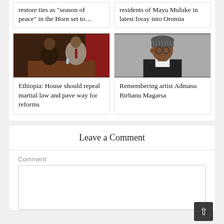restore ties as "season of peace" in the Horn set to…
residents of Mayu Muluke in latest foray into Oromia
[Figure (photo): Black and white photo of two men in suits sitting at a table in what appears to be a meeting room with dark chairs and red curtains in background]
Ethiopia: House should repeal martial law and pave way for reforms
[Figure (photo): Black and white portrait photo of a man wearing a patterned cap and suit, looking to the side]
Remembering artist Admasu Birhanu Magarsa
Leave a Comment
Comment